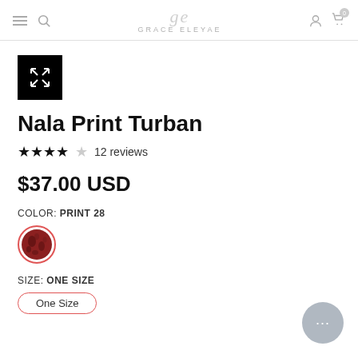GRACE ELEYAE
[Figure (other): Expand/fullscreen button icon (black square with X arrows)]
Nala Print Turban
★★★★☆ 12 reviews
$37.00 USD
COLOR: PRINT 28
[Figure (photo): Color swatch thumbnail showing Print 28 fabric pattern, dark red/burgundy with floral print, circular with red border]
SIZE: ONE SIZE
One Size